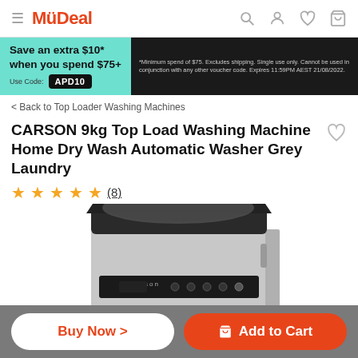MyDeal
[Figure (screenshot): Promotional banner: Save an extra $10* when you spend $75+. Use Code: APD10. *Minimum spend of $75. Excludes shipping. Single use only. Cannot be used in conjunction with any other voucher code. Expires 11:59PM AEST 21/08/2022.]
< Back to Top Loader Washing Machines
CARSON 9kg Top Load Washing Machine Home Dry Wash Automatic Washer Grey Laundry
★★★★★ (8)
[Figure (photo): Photo of a CARSON grey top-loading washing machine, showing the top panel with controls and a partially transparent lid, silver/grey body.]